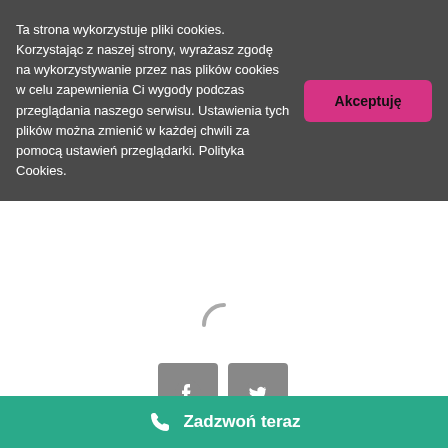Ta strona wykorzystuje pliki cookies. Korzystając z naszej strony, wyrażasz zgodę na wykorzystywanie przez nas plików cookies w celu zapewnienia Ci wygody podczas przeglądania naszego serwisu. Ustawienia tych plików można zmienić w każdej chwili za pomocą ustawień przeglądarki. Polityka Cookies.
[Figure (screenshot): Loading spinner (partial circle arc), gray color, centered on white background]
[Figure (infographic): Two gray square social sharing buttons: Facebook (f icon) and Twitter (bird icon)]
We invite you to an interesting webinar with Leslie Holden (in English), which will take place this Thursday, June 10, from 18: 00-18:
Zadzwoń teraz